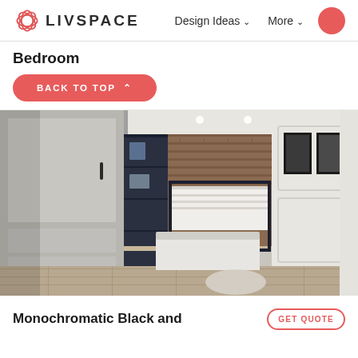LIVSPACE — Design Ideas | More
Bedroom
BACK TO TOP
[Figure (photo): Interior design render of a monochromatic bedroom with a wardrobe on the left, dark navy shelving units flanking a brick-accent wall with a window, a bed in the center, framed artwork on the right wall, and a round rug on a wood-effect floor.]
Monochromatic Black and
GET QUOTE